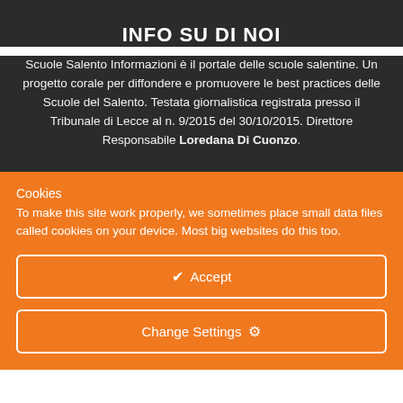INFO SU DI NOI
Scuole Salento Informazioni è il portale delle scuole salentine. Un progetto corale per diffondere e promuovere le best practices delle Scuole del Salento. Testata giornalistica registrata presso il Tribunale di Lecce al n. 9/2015 del 30/10/2015. Direttore Responsabile Loredana Di Cuonzo.
Cookies
To make this site work properly, we sometimes place small data files called cookies on your device. Most big websites do this too.
✔  Accept
Change Settings  ⚙